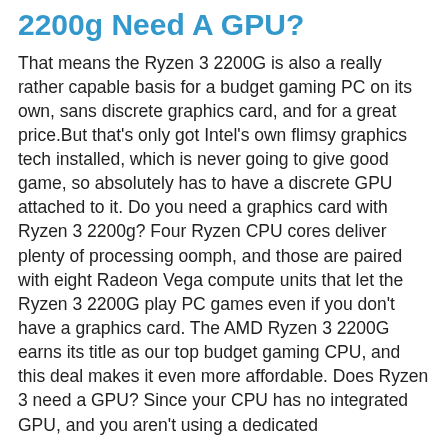2200g Need A GPU?
That means the Ryzen 3 2200G is also a really rather capable basis for a budget gaming PC on its own, sans discrete graphics card, and for a great price.But that's only got Intel's own flimsy graphics tech installed, which is never going to give good game, so absolutely has to have a discrete GPU attached to it. Do you need a graphics card with Ryzen 3 2200g? Four Ryzen CPU cores deliver plenty of processing oomph, and those are paired with eight Radeon Vega compute units that let the Ryzen 3 2200G play PC games even if you don't have a graphics card. The AMD Ryzen 3 2200G earns its title as our top budget gaming CPU, and this deal makes it even more affordable. Does Ryzen 3 need a GPU? Since your CPU has no integrated GPU, and you aren't using a dedicated